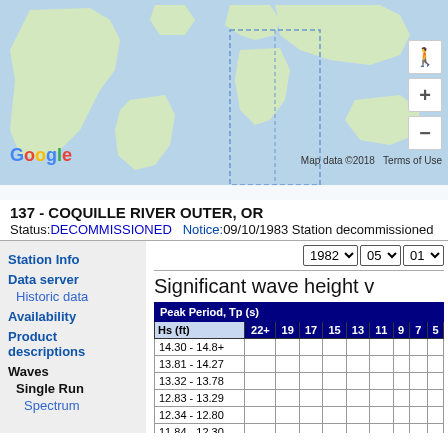[Figure (map): Google Maps world map showing Pacific Ocean region with dashed boundary line around an area near Oregon coast. Map controls include zoom in/out buttons and a Street View person icon. Google logo bottom-left, Map data ©2018 Terms of Use bottom-right.]
137 - COQUILLE RIVER OUTER, OR
Status: DECOMMISSIONED   Notice:09/10/1983 Station decommissioned
Station Info
Data server
Historic data
Availability
Product descriptions
Waves
Single Run
Spectrum
Significant wave height v
| Hs (ft) | 22+ | 19 | 17 | 15 | 13 | 11 | 9 | 7 | 5 |
| --- | --- | --- | --- | --- | --- | --- | --- | --- | --- |
| 14.30 - 14.8+ |  |  |  |  |  |  |  |  |  |
| 13.81 - 14.27 |  |  |  |  |  |  |  |  |  |
| 13.32 - 13.78 |  |  |  |  |  |  |  |  |  |
| 12.83 - 13.29 |  |  |  |  |  |  |  |  |  |
| 12.34 - 12.80 |  |  |  |  |  |  |  |  |  |
| 11.84 - 12.30 |  |  |  |  |  |  |  |  |  |
| 11.35 - 11.81 |  |  |  |  |  |  |  | 1 |  |